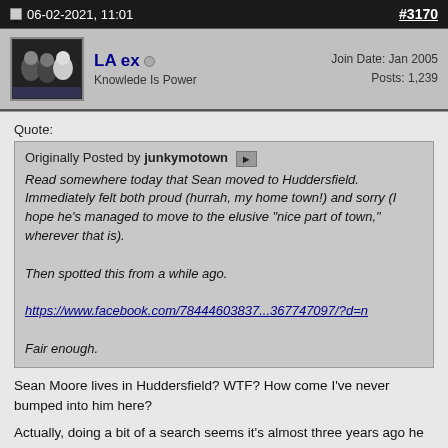06-02-2021, 11:01  #3170
LA ex  Knowlede Is Power  Join Date: Jan 2005  Posts: 1,239
Quote:
Originally Posted by junkymotown
Read somewhere today that Sean moved to Huddersfield. Immediately felt both proud (hurrah, my home town!) and sorry (I hope he's managed to move to the elusive "nice part of town," wherever that is).

Then spotted this from a while ago.

https://www.facebook.com/78444603837...367747097/?d=n

Fair enough.
Sean Moore lives in Huddersfield? WTF? How come I've never bumped into him here?
Actually, doing a bit of a search seems it's almost three years ago he moved here (apologies that it's from the Sun)
https://www.thesun.co.uk/tvandshowbi... quit-smoking/